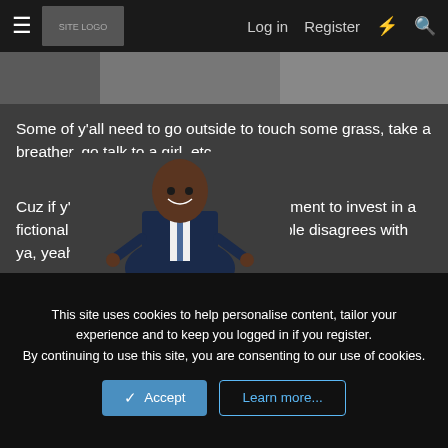☰  [site logo]  Log in  Register  ⚡  🔍
[Figure (photo): Partially visible banner image at the top of the page]
Some of y'all need to go outside to touch some grass, take a breather, go talk to a girl, etc.
Cuz if y'all just spend all day in the basement to invest in a fictional genres just because some people disagrees with ya, yeah y'all need to move on with life.
But hey, if that's how y'all rolling then be my guest.
[Figure (photo): A smiling man in a dark blue suit with a tie, pointing at the camera with both hands]
This site uses cookies to help personalise content, tailor your experience and to keep you logged in if you register.
By continuing to use this site, you are consenting to our use of cookies.